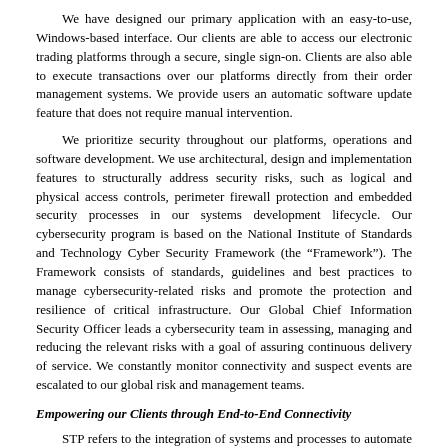We have designed our primary application with an easy-to-use, Windows-based interface. Our clients are able to access our electronic trading platforms through a secure, single sign-on. Clients are also able to execute transactions over our platforms directly from their order management systems. We provide users an automatic software update feature that does not require manual intervention.
We prioritize security throughout our platforms, operations and software development. We use architectural, design and implementation features to structurally address security risks, such as logical and physical access controls, perimeter firewall protection and embedded security processes in our systems development lifecycle. Our cybersecurity program is based on the National Institute of Standards and Technology Cyber Security Framework (the “Framework”). The Framework consists of standards, guidelines and best practices to manage cybersecurity-related risks and promote the protection and resilience of critical infrastructure. Our Global Chief Information Security Officer leads a cybersecurity team in assessing, managing and reducing the relevant risks with a goal of assuring continuous delivery of service. We constantly monitor connectivity and suspect events are escalated to our global risk and management teams.
Empowering our Clients through End-to-End Connectivity
STP refers to the integration of systems and processes to automate the trade process from end-to-end — trade execution, confirmation and settlement — without the need for manual intervention. We provide our broker-dealer and institutional investor clients with a range of tools that facilitate straight-through processing, including order upload, easy-to-use online allocation tools and pre- and post-trade messaging features that enable our clients to communicate electronically between their front- and back-office systems. Our straight-through